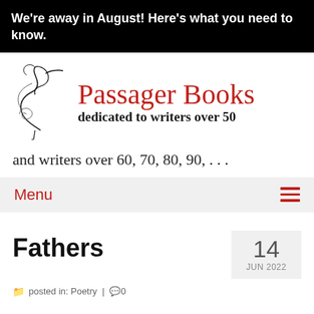We're away in August! Here's what you need to know.
[Figure (logo): Passager Books logo with bird illustration and text 'Passager Books dedicated to writers over 50']
and writers over 60, 70, 80, 90, . . .
Menu
Fathers
posted in: Poetry | 0
14 JUN 2022